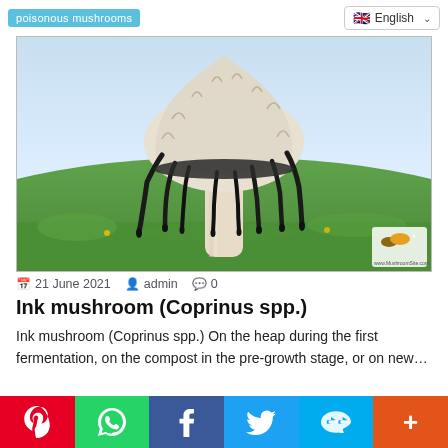poisonous mushrooms | English
[Figure (photo): Close-up photo of an ink mushroom (Coprinus spp.) with a tall white shaggy cap dripping black ink, standing in a green field. A small watermark logo is visible in the bottom right corner.]
21 June 2021  admin  0
Ink mushroom (Coprinus spp.)
Ink mushroom (Coprinus spp.) On the heap during the first fermentation, on the compost in the pre-growth stage, or on new…